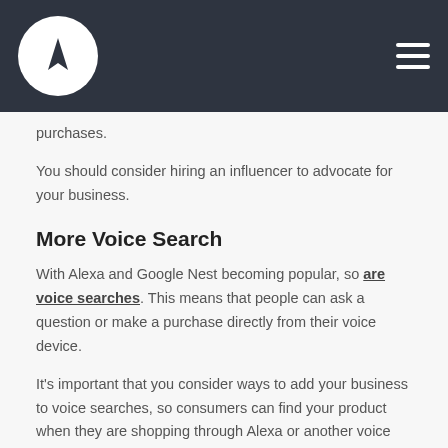purchases.
You should consider hiring an influencer to advocate for your business.
More Voice Search
With Alexa and Google Nest becoming popular, so are voice searches. This means that people can ask a question or make a purchase directly from their voice device.
It's important that you consider ways to add your business to voice searches, so consumers can find your product when they are shopping through Alexa or another voice device.
Easy & Personalized Content For